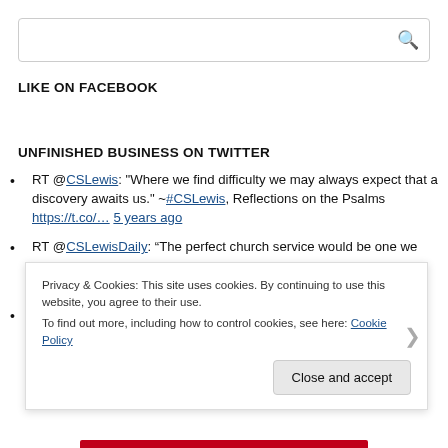[Figure (other): Search bar with magnifying glass icon]
LIKE ON FACEBOOK
UNFINISHED BUSINESS ON TWITTER
RT @CSLewis: "Where we find difficulty we may always expect that a discovery awaits us." ~#CSLewis, Reflections on the Psalms https://t.co/... 5 years ago
RT @CSLewisDaily: “The perfect church service would be one we were almost unaware of. Our attention would have been on God.” #CSLewis 5 years ago
RT @rodger_sherman: A moment of silence for the t t
Privacy & Cookies: This site uses cookies. By continuing to use this website, you agree to their use.
To find out more, including how to control cookies, see here: Cookie Policy
Close and accept